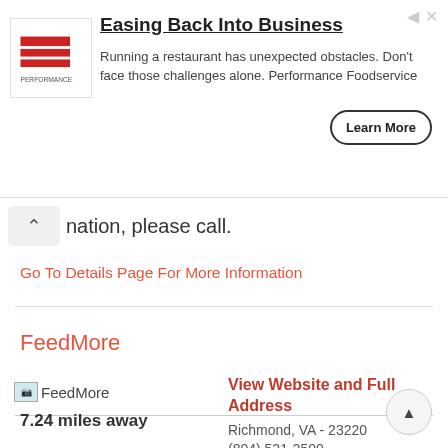[Figure (infographic): Advertisement banner for Performance Foodservice titled 'Easing Back Into Business' with logo, description text, and Learn More button]
nation, please call.
Go To Details Page For More Information
FeedMore
[Figure (photo): FeedMore organization image placeholder]
View Website and Full Address
Richmond, VA - 23220
(804) 521-2500
Food Pantry Location:
7.24 miles away